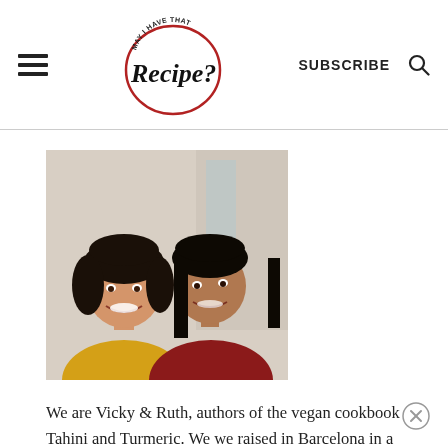May I Have That Recipe? — SUBSCRIBE
[Figure (photo): Two women smiling closely together; one wearing a yellow top, the other wearing red. Indoor background.]
We are Vicky & Ruth, authors of the vegan cookbook Tahini and Turmeric. We we raised in Barcelona in a Jewish-Lebanese household, we moved to the US over 25 years ago. We created May I Have That Recipe to help you